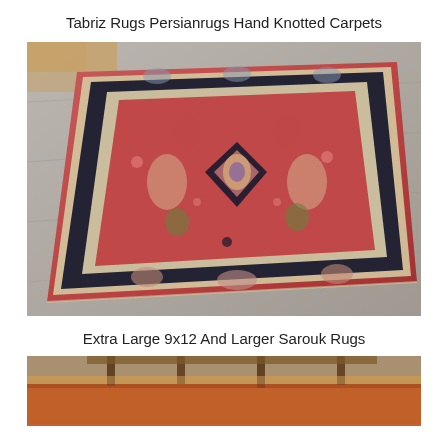Tabriz Rugs Persianrugs Hand Knotted Carpets
[Figure (photo): A large hand-knotted Persian/Tabriz rug with red/rose field, dark navy floral border, and central medallion, displayed on a grey wood floor from an angled overhead perspective.]
Extra Large 9x12 And Larger Sarouk Rugs
[Figure (photo): Partial view of a large orange/rust colored rug on a hardwood floor with furniture legs visible in the background.]